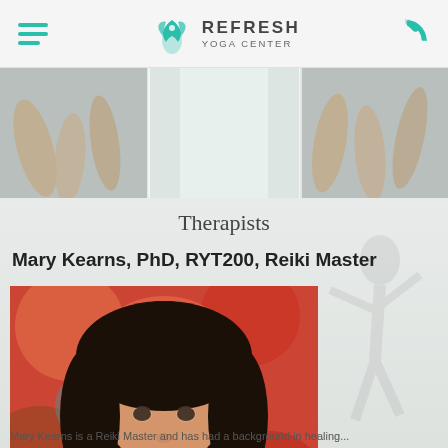Refresh Yoga Center
[Figure (photo): Hero banner with yoga participants raising hands, split into left, center, and right panels]
Therapists
Mary Kearns, PhD, RYT200, Reiki Master
[Figure (photo): Portrait photo of Mary Kearns, a woman with long dark curly hair, smiling, wearing a red pendant necklace, in front of a colorful floral background]
Mary Kearns is a Reiki Master and has had a background in healing...